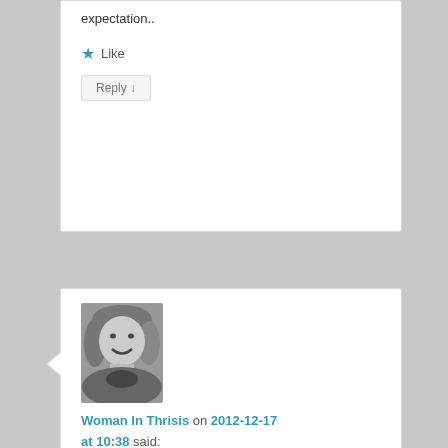expectation..
★ Like
Reply ↓
[Figure (photo): Black and white photo of a smiling woman with blond hair]
Woman In Thrisis on 2012-12-17 at 10:38 said:
Reblogged this on Woman In Thrisis and commented: Too lovely not to share with the readers of my blog. I loved it!
★ Like
Reply ↓